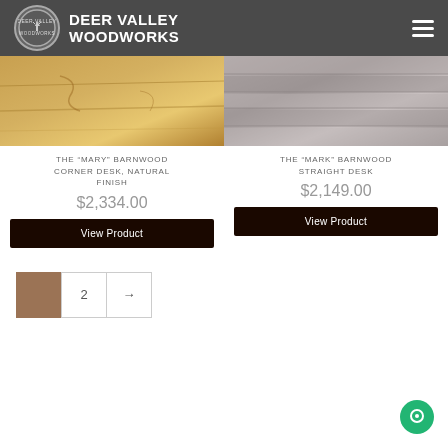DEER VALLEY WOODWORKS
[Figure (photo): The Mary Barnwood Corner Desk, Natural Finish product wood texture image]
[Figure (photo): The Mark Barnwood Straight Desk product wood texture image (grey barnwood)]
THE "MARY" BARNWOOD CORNER DESK, NATURAL FINISH
$2,334.00
View Product
THE "MARK" BARNWOOD STRAIGHT DESK
$2,149.00
View Product
1 (current page, brown)
2
→